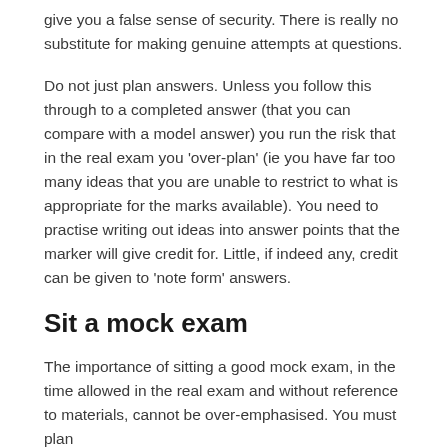give you a false sense of security. There is really no substitute for making genuine attempts at questions.
Do not just plan answers. Unless you follow this through to a completed answer (that you can compare with a model answer) you run the risk that in the real exam you 'over-plan' (ie you have far too many ideas that you are unable to restrict to what is appropriate for the marks available). You need to practise writing out ideas into answer points that the marker will give credit for. Little, if indeed any, credit can be given to 'note form' answers.
Sit a mock exam
The importance of sitting a good mock exam, in the time allowed in the real exam and without reference to materials, cannot be over-emphasised. You must plan